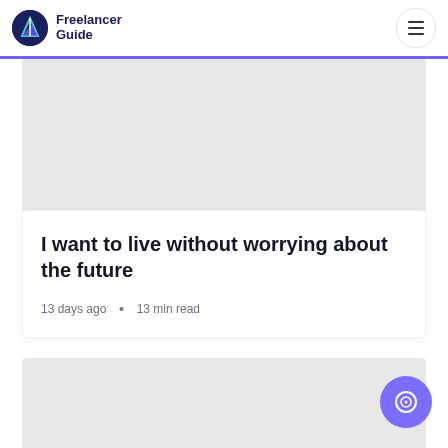Freelancer Guide
[Figure (illustration): Gray placeholder hero image for article]
I want to live without worrying about the future
13 days ago • 13 min read
[Figure (illustration): Gray placeholder image for second article card]